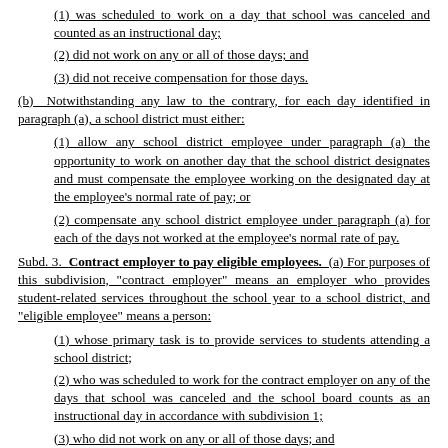(1) was scheduled to work on a day that school was canceled and counted as an instructional day;
(2) did not work on any or all of those days; and
(3) did not receive compensation for those days.
(b) Notwithstanding any law to the contrary, for each day identified in paragraph (a), a school district must either:
(1) allow any school district employee under paragraph (a) the opportunity to work on another day that the school district designates and must compensate the employee working on the designated day at the employee's normal rate of pay; or
(2) compensate any school district employee under paragraph (a) for each of the days not worked at the employee's normal rate of pay.
Subd. 3. Contract employer to pay eligible employees. (a) For purposes of this subdivision, "contract employer" means an employer who provides student-related services throughout the school year to a school district, and "eligible employee" means a person:
(1) whose primary task is to provide services to students attending a school district;
(2) who was scheduled to work for the contract employer on any of the days that school was canceled and the school board counts as an instructional day in accordance with subdivision 1;
(3) who did not work on any or all of those days; and